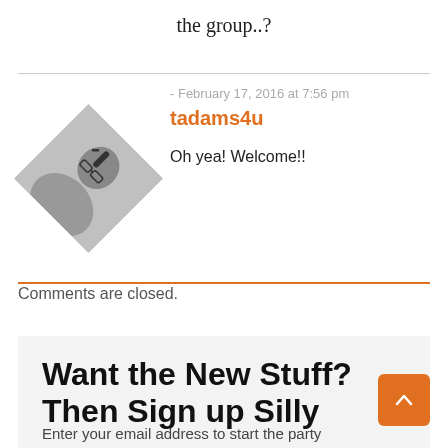the group..?
- February 17, 2016 at 7:56 pm
tadams4u
Oh yea! Welcome!!
Comments are closed.
Want the New Stuff? Then Sign up Silly
Enter your email address to start the party